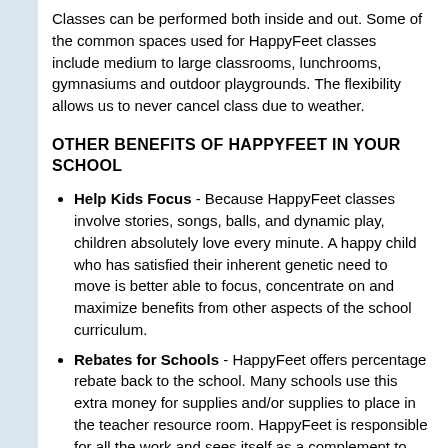Classes can be performed both inside and out. Some of the common spaces used for HappyFeet classes include medium to large classrooms, lunchrooms, gymnasiums and outdoor playgrounds. The flexibility allows us to never cancel class due to weather.
OTHER BENEFITS OF HAPPYFEET IN YOUR SCHOOL
Help Kids Focus - Because HappyFeet classes involve stories, songs, balls, and dynamic play, children absolutely love every minute. A happy child who has satisfied their inherent genetic need to move is better able to focus, concentrate on and maximize benefits from other aspects of the school curriculum.
Rebates for Schools - HappyFeet offers percentage rebate back to the school. Many schools use this extra money for supplies and/or supplies to place in the teacher resource room. HappyFeet is responsible for all the work and sees itself as a complement to the school rather than "another drain on the school's resources."
Build Staff Loyalty - Staff kids enjoy HappyFeet class for free. Staff kids attending class for free is just...